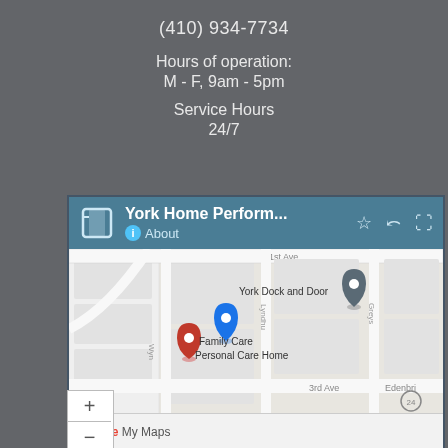(410) 934-7734
Hours of operation:
M - F, 9am - 5pm
Service Hours
24/7
[Figure (screenshot): Google My Maps screenshot showing York Home Perform... map panel with York Dock and Door and Family Care Personal Care Home pins on a street map, with zoom controls and Google My Maps branding at the bottom.]